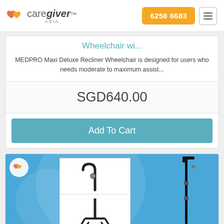CareGiver Asia — 6258 6683
Wheelchair wi...
MEDPRO Maxi Deluxe Recliner Wheelchair is designed for users who needs moderate to maximum assist...
SGD640.00
Add To Cart
[Figure (photo): Walking cane/stick product image on blue background with CareGiver Asia heart logo watermark. Shows two views: close-up of handle and full stick view.]